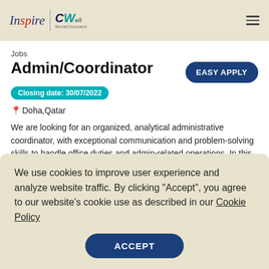Inspire | CW [logo header]
Jobs
Admin/Coordinator
Closing date: 30/07/2022
Doha,Qatar
We are looking for an organized, analytical administrative coordinator, with exceptional communication and problem-solving skills to handle office duties and admin-related operations. In this role, you will field interdepartmental communications, perform
We use cookies to improve user experience and analyze website traffic. By clicking "Accept", you agree to our website's cookie use as described in our Cookie Policy
phones, responding to emails, data entry, and reporting.